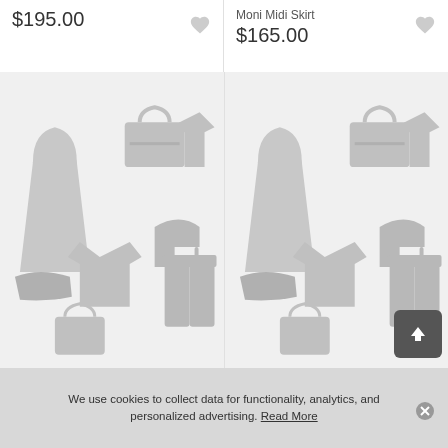$195.00
Moni Midi Skirt
$165.00
[Figure (illustration): Left product card placeholder with clothing pattern icons (dress, bag, shirt, heels, pants, sweater, shoes) on light gray background]
[Figure (illustration): Right product card placeholder with clothing pattern icons (dress, bag, shirt, heels, pants, sweater, shoes) on light gray background, with back-to-top arrow button overlay]
We use cookies to collect data for functionality, analytics, and personalized advertising. Read More